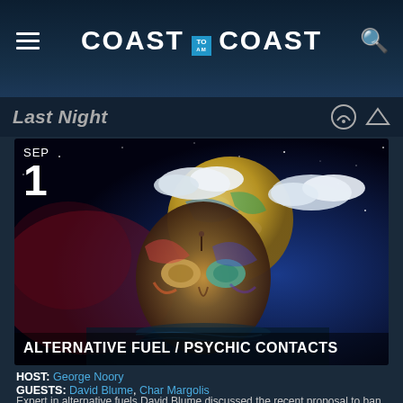COAST TO AM COAST
Last Night
[Figure (illustration): Psychedelic cosmic mask face with moon and clouds on starry background, September 1 date overlay, title ALTERNATIVE FUEL / PSYCHIC CONTACTS]
HOST: George Noory
GUESTS: David Blume, Char Margolis
Expert in alternative fuels David Blume discussed the recent proposal to ban the sale of gas-powered vehicles in California. Followed by psychic intuitive Char Margolis